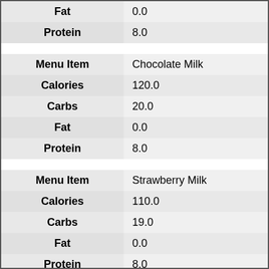| Menu Item | Value |
| --- | --- |
| Fat | 0.0 |
| Protein | 8.0 |
| Menu Item | Value |
| --- | --- |
| Menu Item | Chocolate Milk |
| Calories | 120.0 |
| Carbs | 20.0 |
| Fat | 0.0 |
| Protein | 8.0 |
| Menu Item | Value |
| --- | --- |
| Menu Item | Strawberry Milk |
| Calories | 110.0 |
| Carbs | 19.0 |
| Fat | 0.0 |
| Protein | 8.0 |
| Menu Item | Value |
| --- | --- |
| Menu Item | Dressing |
| Calories | 25.0 |
| Carbs | 2.0 |